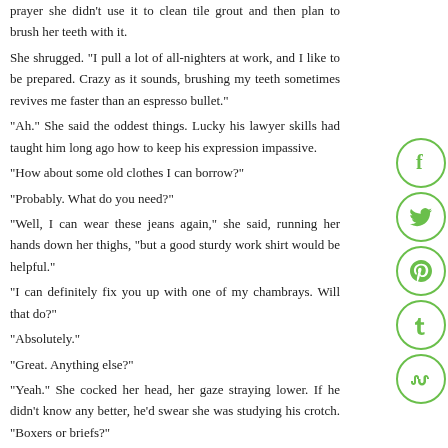prayer she didn't use it to clean tile grout and then plan to brush her teeth with it.
She shrugged. "I pull a lot of all-nighters at work, and I like to be prepared. Crazy as it sounds, brushing my teeth sometimes revives me faster than an espresso bullet."
"Ah." She said the oddest things. Lucky his lawyer skills had taught him long ago how to keep his expression impassive.
"How about some old clothes I can borrow?"
"Probably. What do you need?"
"Well, I can wear these jeans again," she said, running her hands down her thighs, "but a good sturdy work shirt would be helpful."
"I can definitely fix you up with one of my chambrays. Will that do?"
"Absolutely."
"Great. Anything else?"
"Yeah." She cocked her head, her gaze straying lower. If he didn't know any better, he'd swear she was studying his crotch. "Boxers or briefs?"
He kicked the dishwasher door closed with the back of his foot and stared at her, agape. "What?"
"Do you wear boxers or briefs?"
"Boxer briefs," he said.
She seemed to consider this information for a minute then flipped her hair off her shoulder. "Oh, good. Boxers are usually too loose for me."
[Figure (infographic): Vertical stack of five social media icon circles (Facebook, Twitter, Pinterest, Tumblr, StumbleUpon) in green outline style on the right side of the page.]